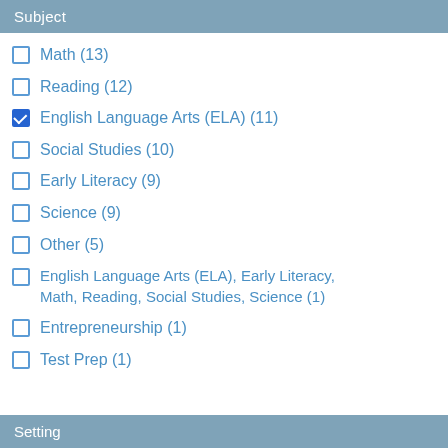Subject
Math (13)
Reading (12)
English Language Arts (ELA) (11)
Social Studies (10)
Early Literacy (9)
Science (9)
Other (5)
English Language Arts (ELA), Early Literacy, Math, Reading, Social Studies, Science (1)
Entrepreneurship (1)
Test Prep (1)
Setting